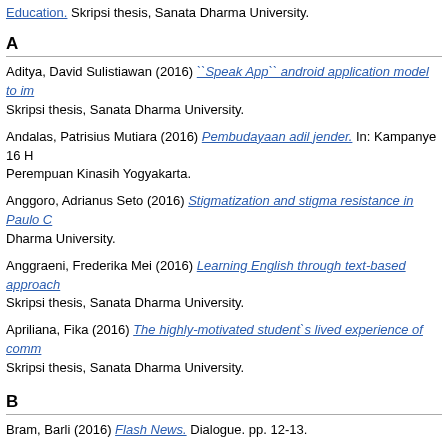Education. Skripsi thesis, Sanata Dharma University.
A
Aditya, David Sulistiawan (2016) ``Speak App`` android application model to im... Skripsi thesis, Sanata Dharma University.
Andalas, Patrisius Mutiara (2016) Pembudayaan adil jender. In: Kampanye 16 H... Perempuan Kinasih Yogyakarta.
Anggoro, Adrianus Seto (2016) Stigmatization and stigma resistance in Paulo C... Dharma University.
Anggraeni, Frederika Mei (2016) Learning English through text-based approach... Skripsi thesis, Sanata Dharma University.
Apriliana, Fika (2016) The highly-motivated student`s lived experience of comm... Skripsi thesis, Sanata Dharma University.
B
Bram, Barli (2016) Flash News. Dialogue. pp. 12-13.
C
Citrayasa, Vinindita (2016) The meaning of learning English using Busuu to jun... Dharma University.